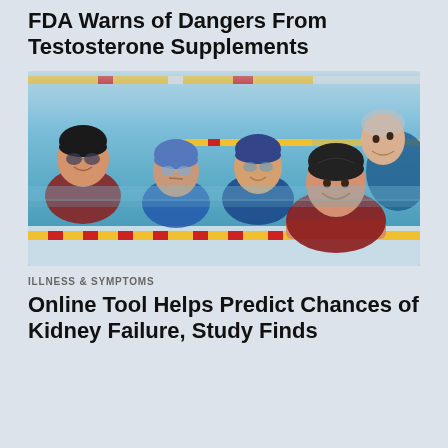FDA Warns of Dangers From Testosterone Supplements
[Figure (photo): Five women swimmers in a swimming pool, wearing swim caps and goggles, resting at the pool edge. Colorful lane dividers visible in background.]
ILLNESS & SYMPTOMS
Online Tool Helps Predict Chances of Kidney Failure, Study Finds